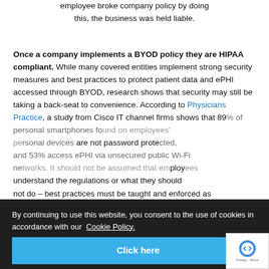employee broke company policy by doing this, the business was held liable.
Once a company implements a BYOD policy they are HIPAA compliant. While many covered entities implement strong security measures and best practices to protect patient data and ePHI accessed through BYOD, research shows that security may still be taking a back-seat to convenience. According to Physicians Practice, a study from Cisco IT channel firms shows that 89% of personal smartphones found on employees' personal devices are not password protected, and 53% access ePHI via unsecured public Wi-Fi networks. It should not be assumed that employees understand the regulations or what they should not do – best practices must be taught and enforced as